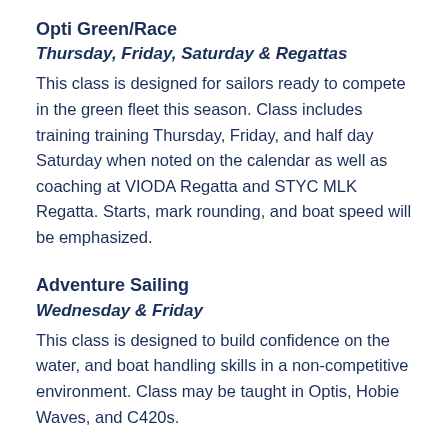Opti Green/Race
Thursday, Friday, Saturday & Regattas
This class is designed for sailors ready to compete in the green fleet this season. Class includes training training Thursday, Friday, and half day Saturday when noted on the calendar as well as coaching at VIODA Regatta and STYC MLK Regatta. Starts, mark rounding, and boat speed will be emphasized.
Adventure Sailing
Wednesday & Friday
This class is designed to build confidence on the water, and boat handling skills in a non-competitive environment. Class may be taught in Optis, Hobie Waves, and C420s.
Team 420